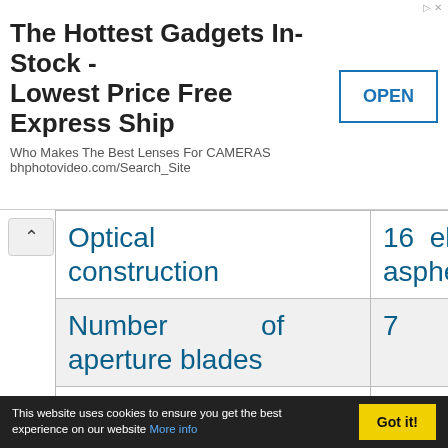[Figure (screenshot): Advertisement banner: 'The Hottest Gadgets In-Stock - Lowest Price Free Express Ship' with OPEN button. Subtitle: 'Who Makes The Best Lenses For CAMERAS bhphotovideo.com/Search_Site']
| Optical construction | 16  elements aspherical e... |
| Number of aperture blades | 7 |
| min. focus distance | 0.45 m (ma... |
| Dimensions | 86 x 75 mm... |
This website uses cookies to ensure you get the best experience on our website More info